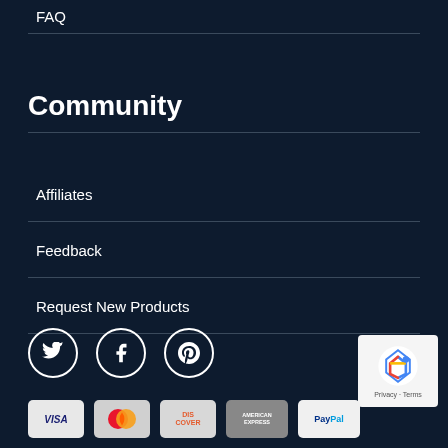FAQ
Community
Affiliates
Feedback
Request New Products
[Figure (illustration): Social media icons: Twitter, Facebook, Pinterest in circular outlines]
[Figure (illustration): reCAPTCHA badge with Privacy and Terms text]
[Figure (illustration): Payment method icons: Visa, MasterCard, Discover, American Express, PayPal]